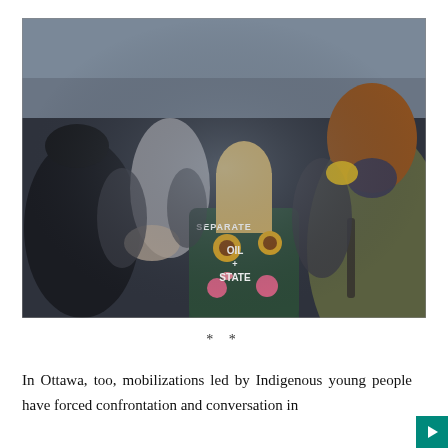[Figure (photo): A crowd of protesters at an outdoor winter rally. Central figure has their back to the camera wearing a dark green jacket painted with sunflowers and the text 'SEPARATE OIL + STATE'. Other protesters in winter coats and hats are visible around them, with bare trees and a building in the blurry background.]
* *
In Ottawa, too, mobilizations led by Indigenous young people have forced confrontation and conversation in